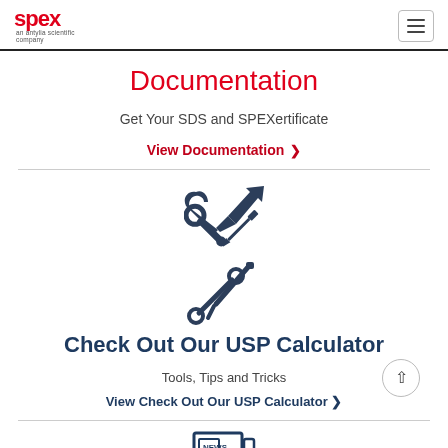SPEX — an Antylia Scientific company [logo] [menu button]
Documentation
Get Your SDS and SPEXertificate
View Documentation ›
[Figure (illustration): Crossed screwdriver and wrench tools icon in dark navy blue]
Check Out Our USP Calculator
Tools, Tips and Tricks
View Check Out Our USP Calculator ›
[Figure (illustration): News newspaper icon in dark navy blue outline]